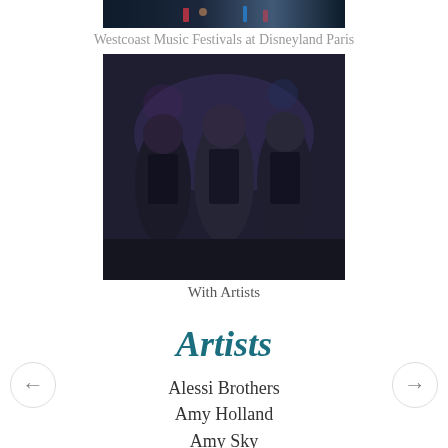[Figure (photo): Dark stage/venue photo at top of page]
Westcoast Music Festivals at Disneyland Paris
[Figure (photo): Three people posing together at a music event, wearing dark clothing]
With Artists
Artists
Alessi Brothers
Amy Holland
Amy Sky
Arnold McCuller
Bill Cantos
Bill Champlin
Bill LaBounty
Brendan Mayer